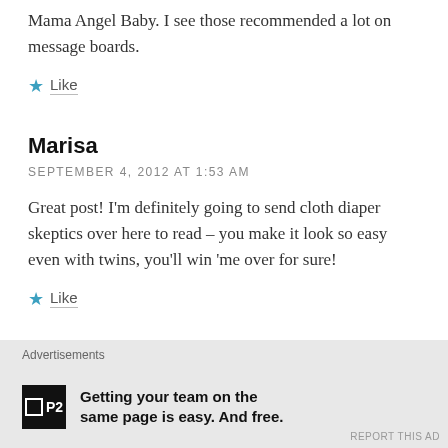Mama Angel Baby. I see those recommended a lot on message boards.
★ Like
Marisa
SEPTEMBER 4, 2012 AT 1:53 AM
Great post! I'm definitely going to send cloth diaper skeptics over here to read – you make it look so easy even with twins, you'll win 'me over for sure!
★ Like
Advertisements
Getting your team on the same page is easy. And free.